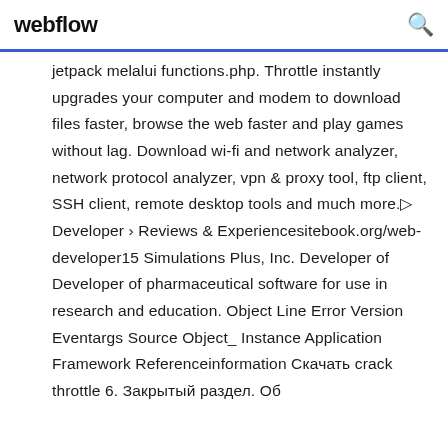webflow
jetpack melalui functions.php. Throttle instantly upgrades your computer and modem to download files faster, browse the web faster and play games without lag. Download wi-fi and network analyzer, network protocol analyzer, vpn & proxy tool, ftp client, SSH client, remote desktop tools and much more.▷ Developer › Reviews & Experiencesitebook.org/web-developer15 Simulations Plus, Inc. Developer of Developer of pharmaceutical software for use in research and education. Object Line Error Version Eventargs Source Object_ Instance Application Framework Referenceinformation Скачать crack throttle 6. Закрытый раздел. Об...